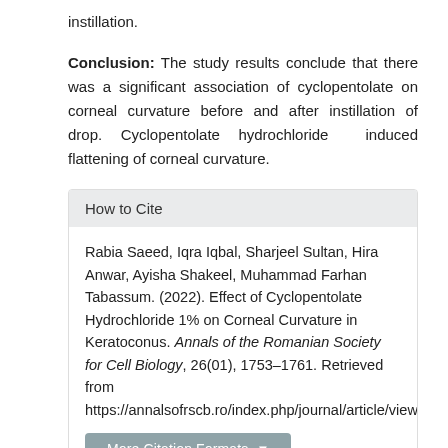instillation.
Conclusion: The study results conclude that there was a significant association of cyclopentolate on corneal curvature before and after instillation of drop. Cyclopentolate hydrochloride induced flattening of corneal curvature.
How to Cite
Rabia Saeed, Iqra Iqbal, Sharjeel Sultan, Hira Anwar, Ayisha Shakeel, Muhammad Farhan Tabassum. (2022). Effect of Cyclopentolate Hydrochloride 1% on Corneal Curvature in Keratoconus. Annals of the Romanian Society for Cell Biology, 26(01), 1753–1761. Retrieved from https://annalsofrscb.ro/index.php/journal/article/view/11106
More Citation Formats →